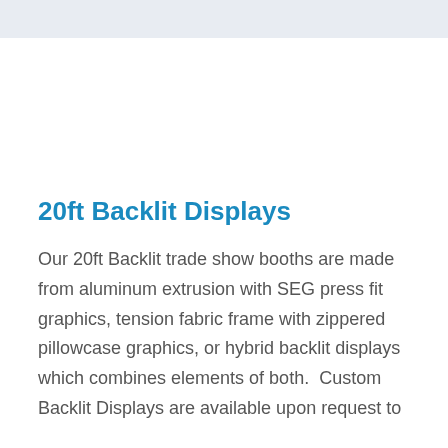20ft Backlit Displays
Our 20ft Backlit trade show booths are made from aluminum extrusion with SEG press fit graphics, tension fabric frame with zippered pillowcase graphics, or hybrid backlit displays which combines elements of both.  Custom Backlit Displays are available upon request to